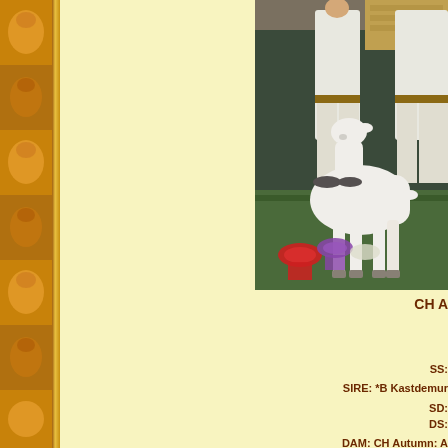[Figure (photo): A white goat being shown at an animal show/fair, with handlers in white clothing visible, and show ribbons (red, purple) on the green floor. Indoor venue with curtained backdrop.]
CH A
SS:
SIRE: *B Kastdemun
SD:
DS:
DAM: CH Autumn: A